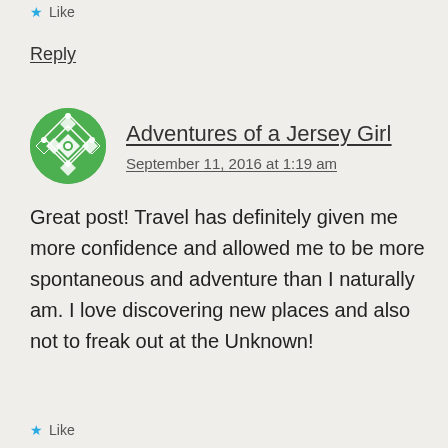★ Like
Reply
Adventures of a Jersey Girl
September 11, 2016 at 1:19 am
Great post! Travel has definitely given me more confidence and allowed me to be more spontaneous and adventure than I naturally am. I love discovering new places and also not to freak out at the Unknown!
★ Like